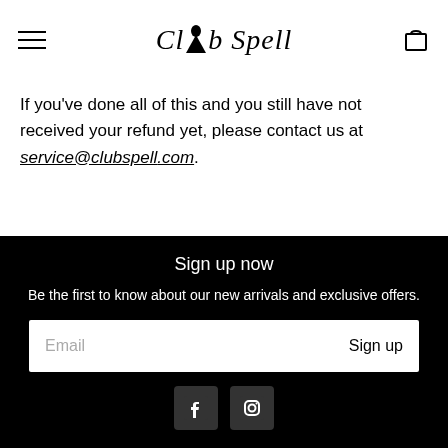Club Spell
If you've done all of this and you still have not received your refund yet, please contact us at service@clubspell.com.
Sign up now
Be the first to know about our new arrivals and exclusive offers.
Email  Sign up
[Figure (other): Facebook and Instagram social media icons in footer]